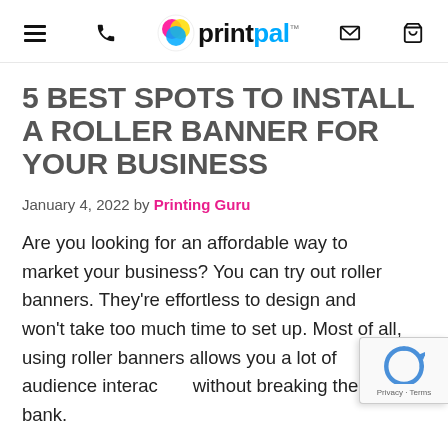printpal navigation bar
5 BEST SPOTS TO INSTALL A ROLLER BANNER FOR YOUR BUSINESS
January 4, 2022 by Printing Guru
Are you looking for an affordable way to market your business? You can try out roller banners. They’re effortless to design and won’t take too much time to set up. Most of all, using roller banners allows you a lot of audience interac without breaking the bank.